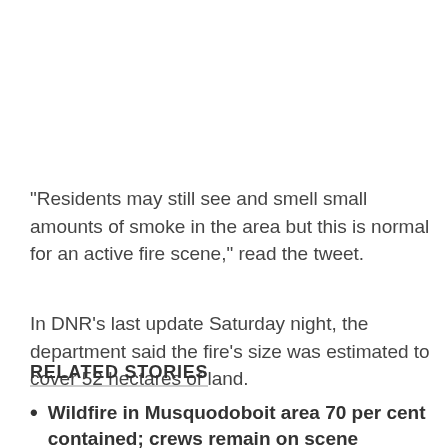"Residents may still see and smell small amounts of smoke in the area but this is normal for an active fire scene," read the tweet.
In DNR's last update Saturday night, the department said the fire's size was estimated to cover 52 hectares of land.
RELATED STORIES
Wildfire in Musquodoboit area 70 per cent contained; crews remain on scene